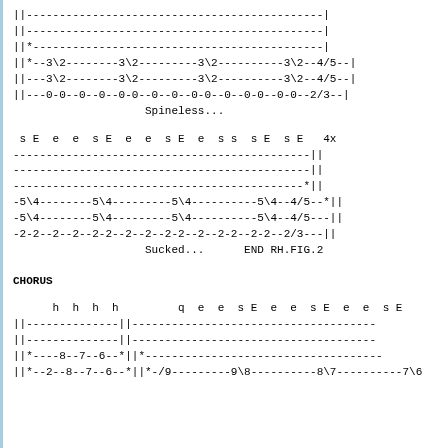||--------------------------------------------|
||--------------------------------------------|
||*-------------------------------------------|
||*--3\2--------3\2---------3\2----------3\2--4/5--|
||---3\2--------3\2---------3\2----------3\2--4/5--|
||---0-0--0--0--0-0--0--0--0-0--0--0-0--0-0--2/3--|
                    Spineless...
s E  e  e  s E  e  e  s E  e  s s  s E  s E   4x
---------------------------------------------||
---------------------------------------------||
--------------------------------------------*||
-5\4--------5\4---------5\4----------5\4--4/5--*||
-5\4--------5\4---------5\4----------5\4--4/5---||
-2-2--2--2--2-2--2--2--2-2--2--2-2--2-2--2/3---||
Sucked...      END RH.FIG.2
CHORUS
h  h  h  h         q  e  e  s E  e  e  s E  e  e  s E
||--------------||-------------------------------------
||--------------||-------------------------------------
||*----8--7--6--*||*------------------------------------
||*--2--8--7--6--*||*-/9---------9\8----------8\7----------7\6